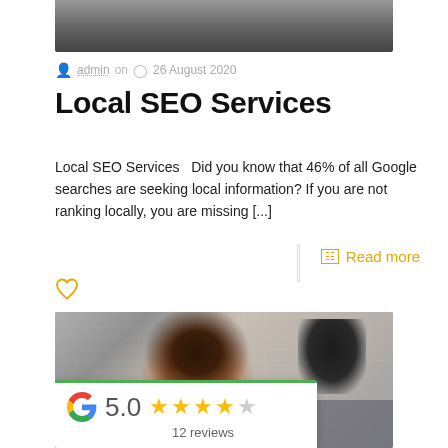[Figure (photo): Top portion of a photo showing a dark surface or couch]
admin on  26 August 2020
Local SEO Services
Local SEO Services   Did you know that 46% of all Google searches are seeking local information? If you are not ranking locally, you are missing [...]
Read more
[Figure (photo): Woman in red shirt looking at camera on a tripod, white brick wall background, Google rating card overlay showing 5.0 stars and 12 reviews]